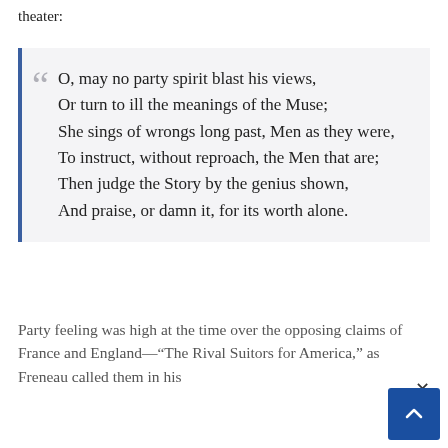theater:
O, may no party spirit blast his views,
Or turn to ill the meanings of the Muse;
She sings of wrongs long past, Men as they were,
To instruct, without reproach, the Men that are;
Then judge the Story by the genius shown,
And praise, or damn it, for its worth alone.
Party feeling was high at the time over the opposing claims of France and England—"The Rival Suitors for America," as Freneau called them in his